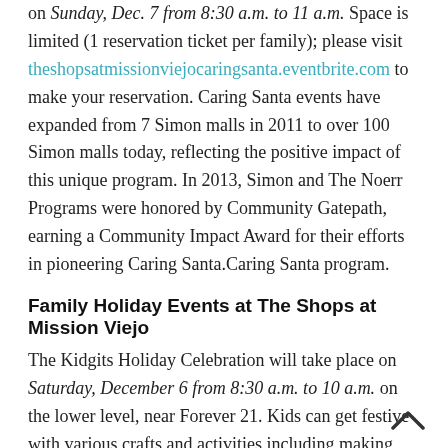on Sunday, Dec. 7 from 8:30 a.m. to 11 a.m. Space is limited (1 reservation ticket per family); please visit theshopsatmissionviejocaringsanta.eventbrite.com to make your reservation. Caring Santa events have expanded from 7 Simon malls in 2011 to over 100 Simon malls today, reflecting the positive impact of this unique program. In 2013, Simon and The Noerr Programs were honored by Community Gatepath, earning a Community Impact Award for their efforts in pioneering Caring Santa.Caring Santa program.
Family Holiday Events at The Shops at Mission Viejo
The Kidgits Holiday Celebration will take place on Saturday, December 6 from 8:30 a.m. to 10 a.m. on the lower level, near Forever 21. Kids can get festive with various crafts and activities including making their own ornament, writing a letter to Santa